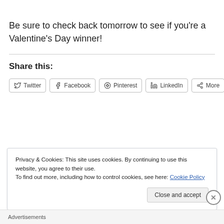Be sure to check back tomorrow to see if you're a Valentine's Day winner!
Share this:
Twitter  Facebook  Pinterest  LinkedIn  More
Privacy & Cookies: This site uses cookies. By continuing to use this website, you agree to their use.
To find out more, including how to control cookies, see here: Cookie Policy
Close and accept
Advertisements